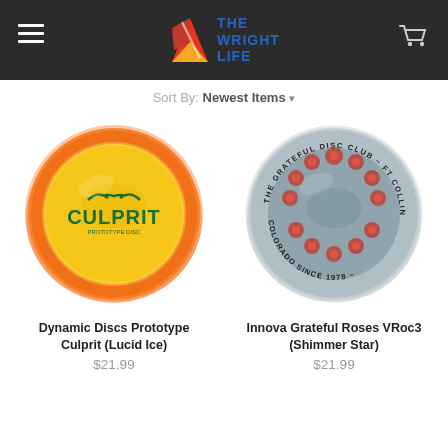The Wright Life
Sort By: Newest Items
[Figure (photo): Orange Dynamic Discs Prototype Culprit (Lucid Ice) disc golf disc with green CULPRIT logo]
Dynamic Discs Prototype Culprit (Lucid Ice)
$21.99
[Figure (photo): Gray Innova Grateful Roses VRoc3 (Shimmer Star) disc golf disc with red roses wreath design and The Grateful Disc Club text]
Innova Grateful Roses VRoc3 (Shimmer Star)
$21.99